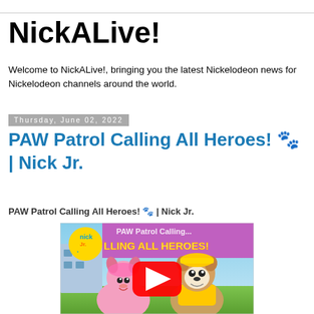NickALive!
Welcome to NickALive!, bringing you the latest Nickelodeon news for Nickelodeon channels around the world.
Thursday, June 02, 2022
PAW Patrol Calling All Heroes! 🐾 | Nick Jr.
PAW Patrol Calling All Heroes! 🐾 | Nick Jr.
[Figure (screenshot): YouTube video thumbnail for PAW Patrol Calling All Heroes! featuring Nick Jr. logo, animated PAW Patrol characters (Skye and Rubble), colorful text 'LLING ALL HEROES!' and a YouTube play button overlay.]